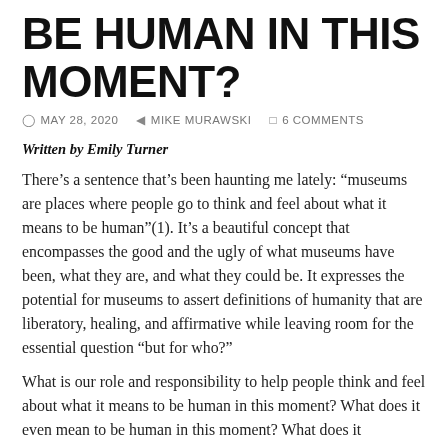BE HUMAN IN THIS MOMENT?
MAY 28, 2020   MIKE MURAWSKI   6 COMMENTS
Written by Emily Turner
There’s a sentence that’s been haunting me lately: “museums are places where people go to think and feel about what it means to be human”(1). It’s a beautiful concept that encompasses the good and the ugly of what museums have been, what they are, and what they could be. It expresses the potential for museums to assert definitions of humanity that are liberatory, healing, and affirmative while leaving room for the essential question “but for who?”
What is our role and responsibility to help people think and feel about what it means to be human in this moment? What does it even mean to be human in this moment? What does it